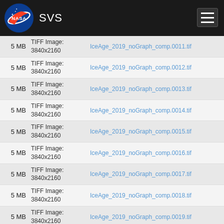NASA SVS
5 MB | TIFF Image: 3840x2160 | IceAge_2019_noGraph_comp.0011.tif
5 MB | TIFF Image: 3840x2160 | IceAge_2019_noGraph_comp.0012.tif
5 MB | TIFF Image: 3840x2160 | IceAge_2019_noGraph_comp.0013.tif
5 MB | TIFF Image: 3840x2160 | IceAge_2019_noGraph_comp.0014.tif
5 MB | TIFF Image: 3840x2160 | IceAge_2019_noGraph_comp.0015.tif
5 MB | TIFF Image: 3840x2160 | IceAge_2019_noGraph_comp.0016.tif
5 MB | TIFF Image: 3840x2160 | IceAge_2019_noGraph_comp.0017.tif
5 MB | TIFF Image: 3840x2160 | IceAge_2019_noGraph_comp.0018.tif
5 MB | TIFF Image: 3840x2160 | IceAge_2019_noGraph_comp.0019.tif
5 MB | TIFF Image: | IceAge_2019_noGraph_comp.0020.tif